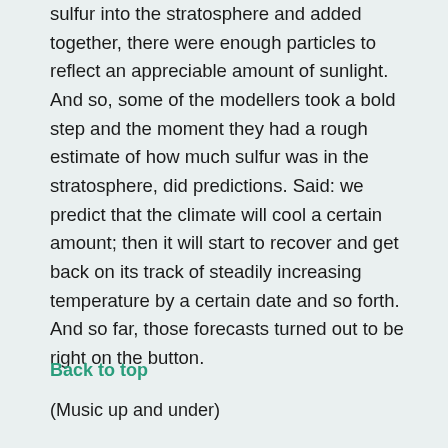sulfur into the stratosphere and added together, there were enough particles to reflect an appreciable amount of sunlight. And so, some of the modellers took a bold step and the moment they had a rough estimate of how much sulfur was in the stratosphere, did predictions. Said: we predict that the climate will cool a certain amount; then it will start to recover and get back on its track of steadily increasing temperature by a certain date and so forth. And so far, those forecasts turned out to be right on the button.
Back to top
(Music up and under)